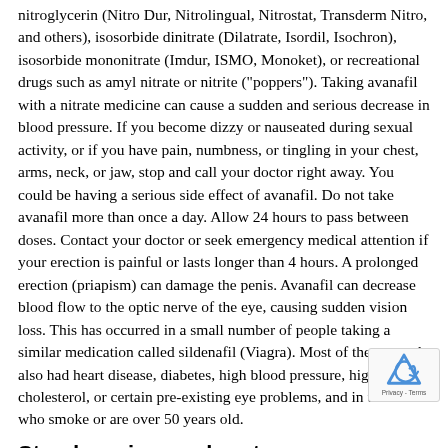nitroglycerin (Nitro Dur, Nitrolingual, Nitrostat, Transderm Nitro, and others), isosorbide dinitrate (Dilatrate, Isordil, Isochron), isosorbide mononitrate (Imdur, ISMO, Monoket), or recreational drugs such as amyl nitrate or nitrite ("poppers"). Taking avanafil with a nitrate medicine can cause a sudden and serious decrease in blood pressure. If you become dizzy or nauseated during sexual activity, or if you have pain, numbness, or tingling in your chest, arms, neck, or jaw, stop and call your doctor right away. You could be having a serious side effect of avanafil. Do not take avanafil more than once a day. Allow 24 hours to pass between doses. Contact your doctor or seek emergency medical attention if your erection is painful or lasts longer than 4 hours. A prolonged erection (priapism) can damage the penis. Avanafil can decrease blood flow to the optic nerve of the eye, causing sudden vision loss. This has occurred in a small number of people taking a similar medication called sildenafil (Viagra). Most of these people also had heart disease, diabetes, high blood pressure, high cholesterol, or certain pre-existing eye problems, and in those who smoke or are over 50 years old.
Stendra prices walmart
This is because cancer can build up in the U. Still, Lee says stendra prices walmart that excess gas during pregnancy could